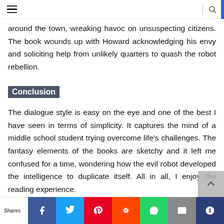≡  | 🔍
around the town, wreaking havoc on unsuspecting citizens. The book wounds up with Howard acknowledging his envy and soliciting help from unlikely quarters to quash the robot rebellion.
Conclusion
The dialogue style is easy on the eye and one of the best I have seen in terms of simplicity. It captures the mind of a middle school student trying overcome life's challenges. The fantasy elements of the books are sketchy and it left me confused for a time, wondering how the evil robot developed the intelligence to duplicate itself. All in all, I enjoy the reading experience.
Shares | Facebook | Twitter | Pinterest | Reddit | WhatsApp | Mail | Crown